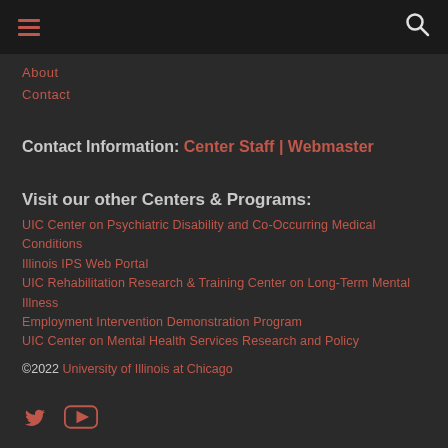≡ [hamburger menu] [search icon]
About
Contact
Contact Information:  Center Staff | Webmaster
Visit our other Centers & Programs:
UIC Center on Psychiatric Disability and Co-Occurring Medical Conditions
Illinois IPS Web Portal
UIC Rehabilitation Research & Training Center on Long-Term Mental Illness
Employment Intervention Demonstration Program
UIC Center on Mental Health Services Research and Policy
©2022 University of Illinois at Chicago
[Figure (illustration): Twitter and YouTube social media icons in salmon/coral color]